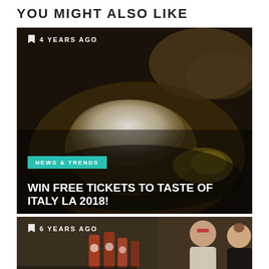YOU MIGHT ALSO LIKE
[Figure (photo): Food photo showing a powdered sugar-dusted pastry on a dark plate, with overlay text showing '4 YEARS AGO', category badge 'NEWS & TRENDS', and article title 'WIN FREE TICKETS TO TASTE OF ITALY LA 2018!']
[Figure (photo): Photo of people at a food market/vendor event with jars of sauce in the foreground, overlay text '6 YEARS AGO', and partial category badge 'NEWS & TRENDS' at bottom]